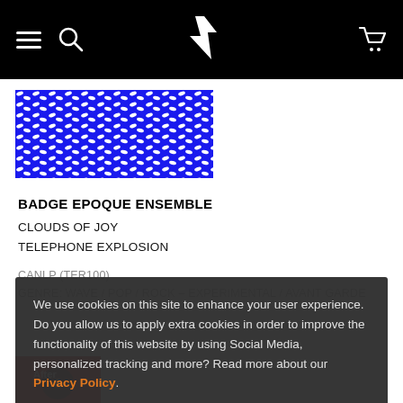Navigation bar with hamburger menu, search icon, logo, and cart icon
[Figure (photo): Album cover artwork: blue and white patterned graphic (Badge Epoque Ensemble)]
BADGE EPOQUE ENSEMBLE
CLOUDS OF JOY
TELEPHONE EXPLOSION
CANLP (TER100)
GENRE: WAVE / POP / ROCK – EXPERIMENTAL / AVANT GARDE
We use cookies on this site to enhance your user experience. Do you allow us to apply extra cookies in order to improve the functionality of this website by using Social Media, personalized tracking and more? Read more about our Privacy Policy.
Yes
No
[Figure (photo): Partial album cover thumbnail visible at bottom of page]